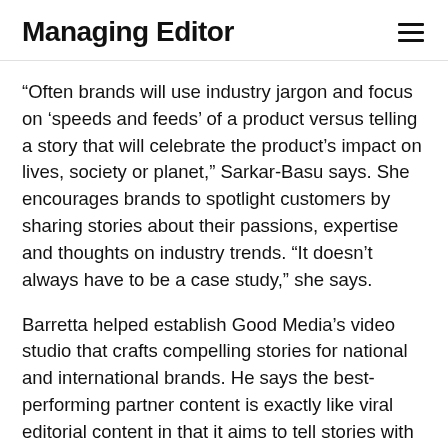Managing Editor
“Often brands will use industry jargon and focus on ‘speeds and feeds’ of a product versus telling a story that will celebrate the product’s impact on lives, society or planet,” Sarkar-Basu says. She encourages brands to spotlight customers by sharing stories about their passions, expertise and thoughts on industry trends. “It doesn’t always have to be a case study,” she says.
Barretta helped establish Good Media’s video studio that crafts compelling stories for national and international brands. He says the best-performing partner content is exactly like viral editorial content in that it aims to tell stories with emotion and empathy. They also start by identifying a problem and illustrating